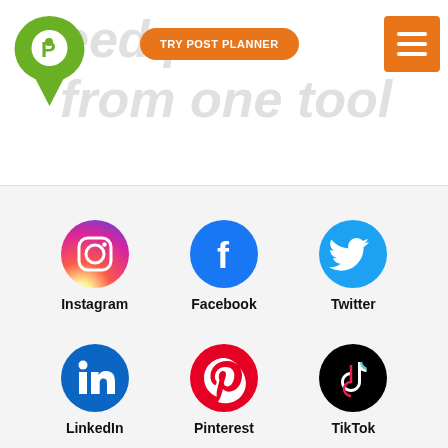[Figure (logo): Post Planner green map pin logo with white P letter]
TRY POST PLANNER
[Figure (other): Orange hamburger menu icon with three white horizontal lines]
eed p orms from one tool
[Figure (infographic): Grid of 6 social media icons: Instagram, Facebook, Twitter, LinkedIn, Pinterest, TikTok, each with a label below]
We use cookies to give you the best experience possible. By continuing, we'll assume you're cool with our cookie policy.
Accept